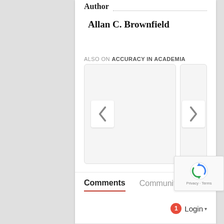Author
Allan C. Brownfield
ALSO ON ACCURACY IN ACADEMIA
[Figure (screenshot): Carousel widget with left and right navigation chevron buttons on a light gray background]
Comments   Community   [lock icon]
1  Login ▾
[Figure (other): reCAPTCHA widget with spinning arrows logo and Privacy · Terms text]